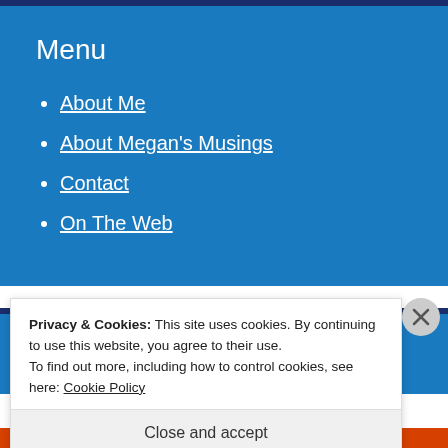Menu
About Me
About Megan's Musings
Contact
On The Web
Privacy & Cookies: This site uses cookies. By continuing to use this website, you agree to their use.
To find out more, including how to control cookies, see here: Cookie Policy
Close and accept